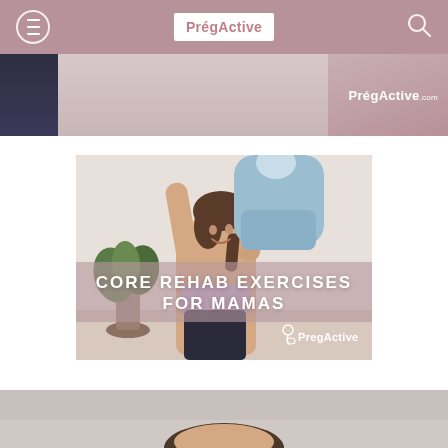PregActive
[Figure (screenshot): Cropped top portion of a fitness/pregnancy related image strip with PregActive.com watermark in white text on the right side]
[Figure (photo): A woman in a sports bra lifting a baby overhead, smiling upward. Overlay text reads 'CORE REHAB EXERCISES FOR MAMAS' with PregActive logo in bottom right. Indoor setting with plants visible.]
[Figure (photo): Bottom strip showing a partial cropped fitness/pregnancy image]